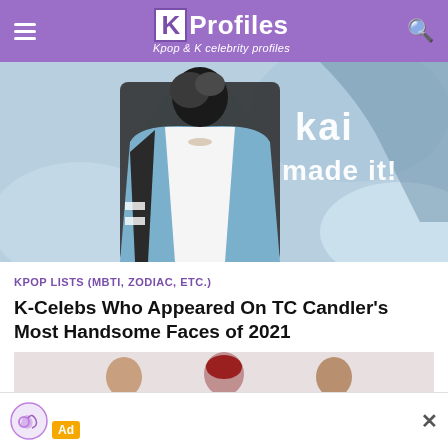KProfiles — Kpop & K celebrity profiles
[Figure (photo): K-pop male celebrity (Kai) posing in a blue jacket against a cartoon-style blue illustrated background with text 'kai made it!']
KPOP LISTS (MBTI, ZODIAC, ETC.)
K-Celebs Who Appeared On TC Candler's Most Handsome Faces of 2021
[Figure (photo): Group of K-pop male celebrities, one in pink, one with red hair, one in a green checkered top, partial view]